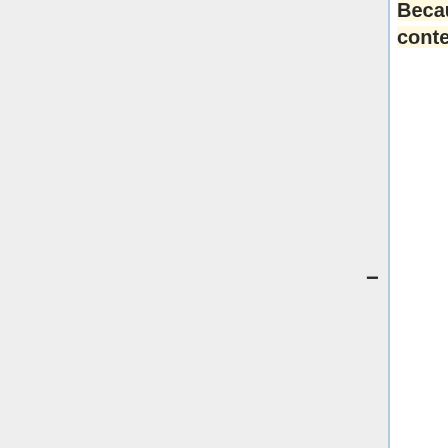to explain recency and contiguity effects in free recall. Specifically, recency effects appear because the context at the time of the memory test is most similar to the context associated with recent items. When an item is retrieved at test, it reinstates the context active when that item was studied. Because this context